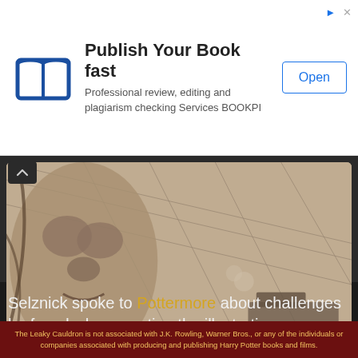[Figure (other): Ad banner: book icon, text 'Publish Your Book fast – Professional review, editing and plagiarism checking Services BOOKPI', Open button]
[Figure (illustration): Black and white detailed illustration showing a giant face and architectural/train imagery with Scholastic logo badge in red]
[Figure (illustration): Black and white detailed panoramic illustration of Harry Potter characters and creatures (glasses boy, snake, crowd of faces, gears)]
Selznick spoke to Pottermore about challenges he faced when creating the illustrations:
The Leaky Cauldron is not associated with J.K. Rowling, Warner Bros., or any of the individuals or companies associated with producing and publishing Harry Potter books and films.